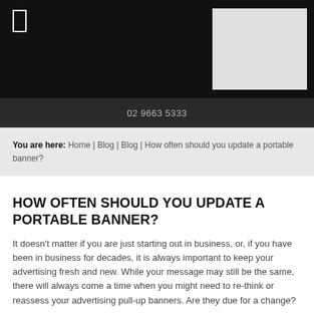02 9663 5333
You are here: Home | Blog | Blog | How often should you update a portable banner?
HOW OFTEN SHOULD YOU UPDATE A PORTABLE BANNER?
It doesn't matter if you are just starting out in business, or, if you have been in business for decades, it is always important to keep your advertising fresh and new. While your message may still be the same, there will always come a time when you might need to re-think or reassess your advertising pull-up banners. Are they due for a change?
Banners will always wear or gradually fade over time. Of course, how long a banner lasts depends on where and how you use a